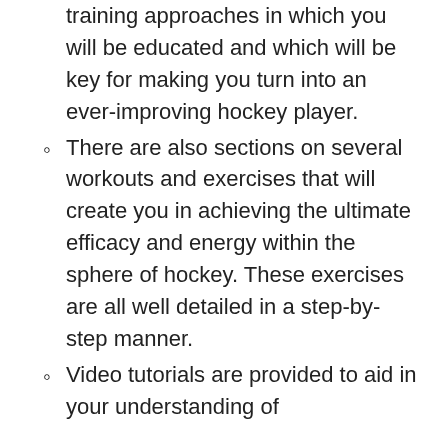training approaches in which you will be educated and which will be key for making you turn into an ever-improving hockey player.
There are also sections on several workouts and exercises that will create you in achieving the ultimate efficacy and energy within the sphere of hockey. These exercises are all well detailed in a step-by-step manner.
Video tutorials are provided to aid in your understanding of